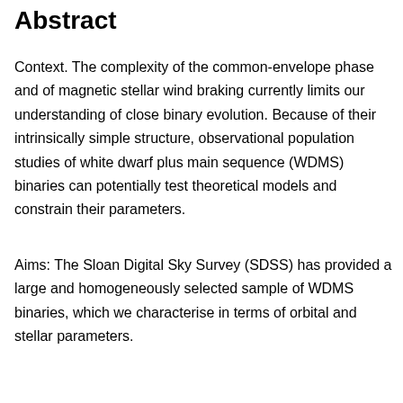Abstract
Context. The complexity of the common-envelope phase and of magnetic stellar wind braking currently limits our understanding of close binary evolution. Because of their intrinsically simple structure, observational population studies of white dwarf plus main sequence (WDMS) binaries can potentially test theoretical models and constrain their parameters.
Aims: The Sloan Digital Sky Survey (SDSS) has provided a large and homogeneously selected sample of WDMS binaries, which we characterise in terms of orbital and stellar parameters.